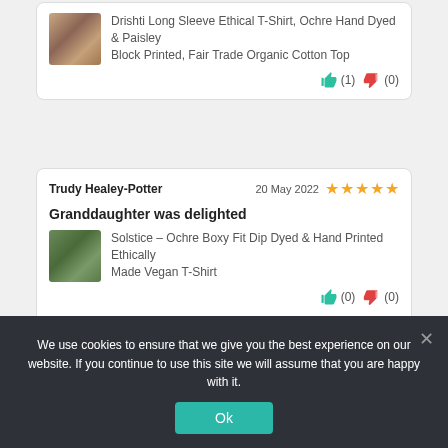Drishti Long Sleeve Ethical T-Shirt, Ochre Hand Dyed & Paisley Block Printed, Fair Trade Organic Cotton Top
[Figure (photo): Product thumbnail of an ochre hand dyed paisley block printed t-shirt]
👍 (1)  👎 (0)
Trudy Healey-Potter   20 May 2022  ★★★★★
Granddaughter was delighted
Solstice – Ochre Boxy Fit Dip Dyed & Hand Printed Ethically Made Vegan T-Shirt
[Figure (photo): Product thumbnail of a green/ochre boxy fit dip dyed t-shirt]
👍 (0)  👎 (0)
We use cookies to ensure that we give you the best experience on our website. If you continue to use this site we will assume that you are happy with it.